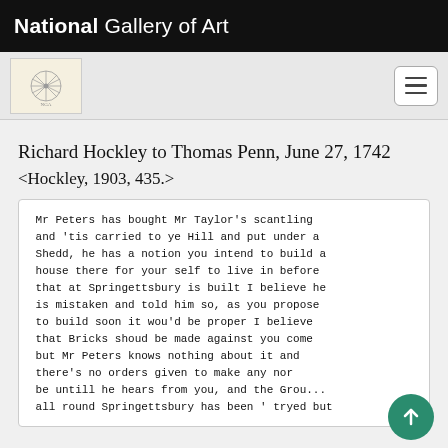National Gallery of Art
Richard Hockley to Thomas Penn, June 27, 1742
<Hockley, 1903, 435.>
Mr Peters has bought Mr Taylor's scantling and 'tis carried to ye Hill and put under a Shedd, he has a notion you intend to build a house there for your self to live in before that at Springettsbury is built I believe he is mistaken and told him so, as you propose to build soon it wou'd be proper I believe that Bricks shoud be made against you come but Mr Peters knows nothing about it and there's no orders given to make any nor be untill he hears from you, and the Grou... all round Springettsbury has been ' tryed but